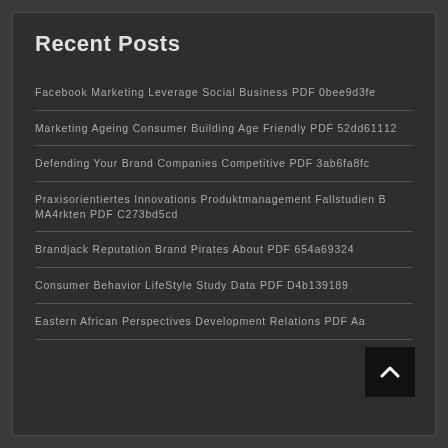Recent Posts
Facebook Marketing Leverage Social Business PDF 0bee9d3fe
Marketing Ageing Consumer Building Age Friendly PDF 52dd61112
Defending Your Brand Companies Competitive PDF 3ab6fa8fc
Praxisorientiertes Innovations Produktmanagement Fallstudien B MA4rkten PDF C273bd5cd
Brandjack Reputation Brand Pirates About PDF 654a69324
Consumer Behavior LifeStyle Study Data PDF D4b139189
Eastern African Perspectives Development Relations PDF Aa...